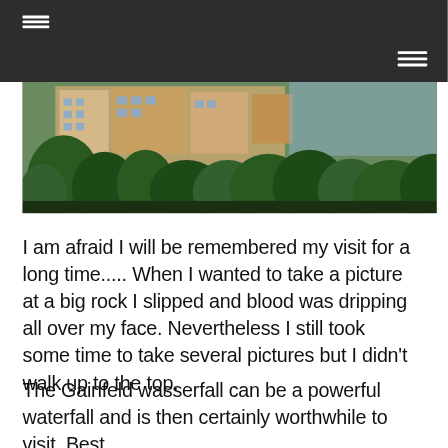[Figure (photo): Outdoor photo showing buildings with balconies partially obscured by trees, taken from a low angle. Buildings appear to be multi-story with green trees in the foreground.]
I am afraid I will be remembered my visit for a long time..... When I wanted to take a picture at a big rock I slipped and blood was dripping all over my face. Nevertheless I still took some time to take several pictures but I didn't walk up to the top.
The Gainfeld wasserfall can be a powerful waterfall and is then certainly worthwhile to visit. Best